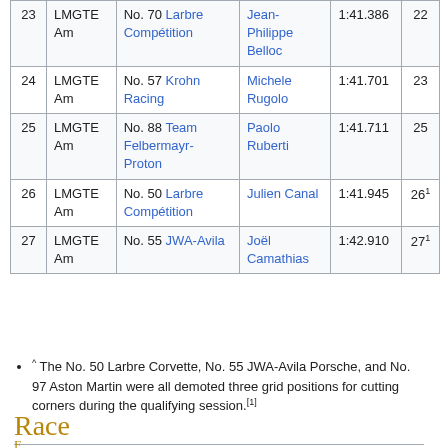| 23 | LMGTE Am | No. 70 Larbre Compétition | Jean-Philippe Belloc | 1:41.386 | 22 |
| 24 | LMGTE Am | No. 57 Krohn Racing | Michele Rugolo | 1:41.701 | 23 |
| 25 | LMGTE Am | No. 88 Team Felbermayr-Proton | Paolo Ruberti | 1:41.711 | 25 |
| 26 | LMGTE Am | No. 50 Larbre Compétition | Julien Canal | 1:41.945 | 26^1 |
| 27 | LMGTE Am | No. 55 JWA-Avila | Joël Camathias | 1:42.910 | 27^1 |
^ The No. 50 Larbre Corvette, No. 55 JWA-Avila Porsche, and No. 97 Aston Martin were all demoted three grid positions for cutting corners during the qualifying session.[1]
Race